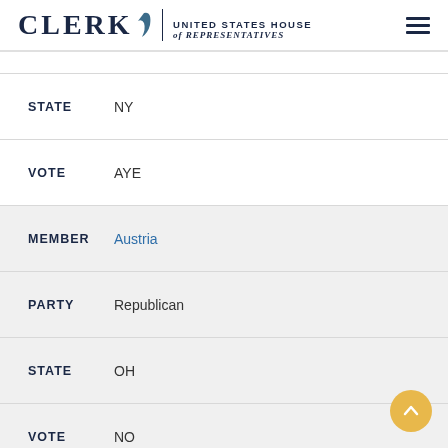CLERK United States House of Representatives
STATE  NY
VOTE  AYE
MEMBER  Austria
PARTY  Republican
STATE  OH
VOTE  NO
MEMBER  Baca